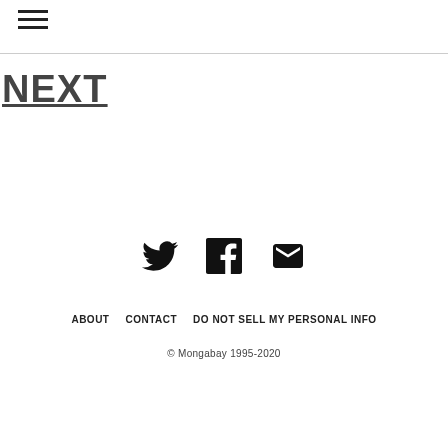☰
NEXT
[Figure (other): Social media icons: Twitter bird, Facebook F, and envelope/mail icon]
ABOUT  CONTACT  DO NOT SELL MY PERSONAL INFO
© Mongabay 1995-2020